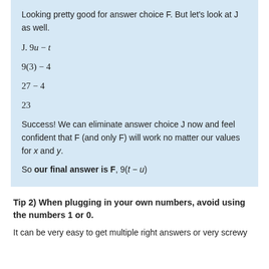Looking pretty good for answer choice F. But let's look at J as well.
Success! We can eliminate answer choice J now and feel confident that F (and only F) will work no matter our values for x and y.
So our final answer is F, 9(t − u)
Tip 2) When plugging in your own numbers, avoid using the numbers 1 or 0.
It can be very easy to get multiple right answers or very screwy